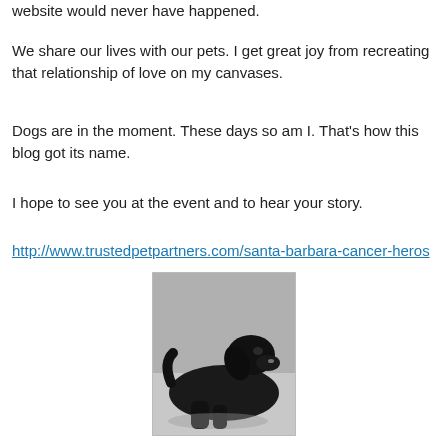website would never have happened.
We share our lives with our pets. I get great joy from recreating that relationship of love on my canvases.
Dogs are in the moment. These days so am I. That's how this blog got its name.
I hope to see you at the event and to hear your story.
http://www.trustedpetpartners.com/santa-barbara-cancer-heros
[Figure (photo): Black and white photograph of a dark-colored dog (appears to be a black Labrador or similar breed) lying on a floor, looking to the side.]